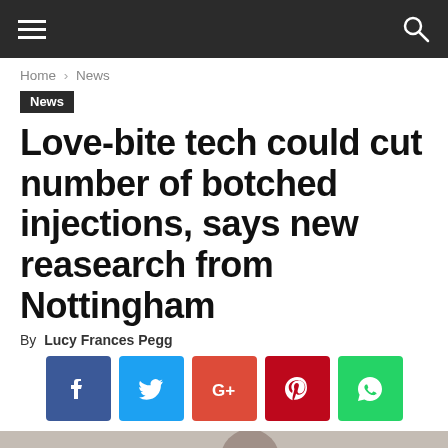≡  🔍
Home › News
News
Love-bite tech could cut number of botched injections, says new reasearch from Nottingham
By Lucy Frances Pegg
[Figure (infographic): Social share buttons: Facebook, Twitter, Google+, Pinterest, WhatsApp]
[Figure (photo): Photo of a person in an office or lab setting, partially visible]